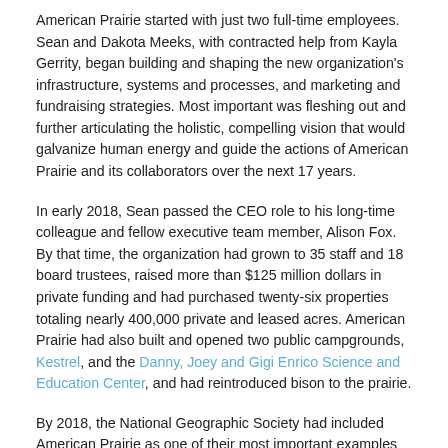American Prairie started with just two full-time employees. Sean and Dakota Meeks, with contracted help from Kayla Gerrity, began building and shaping the new organization's infrastructure, systems and processes, and marketing and fundraising strategies. Most important was fleshing out and further articulating the holistic, compelling vision that would galvanize human energy and guide the actions of American Prairie and its collaborators over the next 17 years.
In early 2018, Sean passed the CEO role to his long-time colleague and fellow executive team member, Alison Fox. By that time, the organization had grown to 35 staff and 18 board trustees, raised more than $125 million dollars in private funding and had purchased twenty-six properties totaling nearly 400,000 private and leased acres. American Prairie had also built and opened two public campgrounds, Kestrel, and the Danny, Joey and Gigi Enrico Science and Education Center, and had reintroduced bison to the prairie.
By 2018, the National Geographic Society had included American Prairie as one of their most important examples of